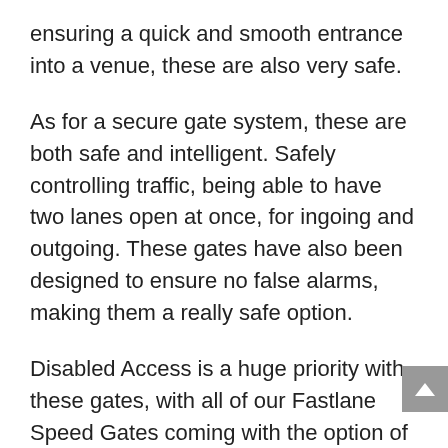ensuring a quick and smooth entrance into a venue, these are also very safe.
As for a secure gate system, these are both safe and intelligent. Safely controlling traffic, being able to have two lanes open at once, for ingoing and outgoing. These gates have also been designed to ensure no false alarms, making them a really safe option.
Disabled Access is a huge priority with these gates, with all of our Fastlane Speed Gates coming with the option of a bigger size in width. Most importantly, they all fit with the DDA or ADA regulations, and Audio and visual feedback is provided as standard.
Thankfully for both us and you, these are easy to